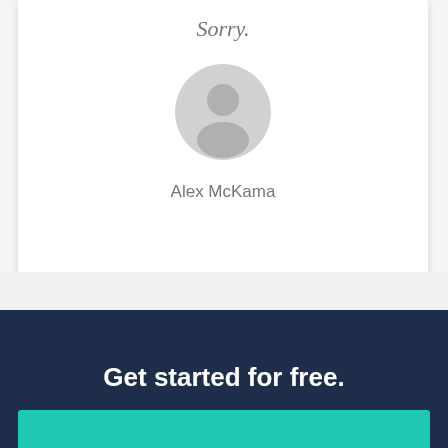Sorry.
[Figure (illustration): Generic user avatar circle with silhouette icon on gray background]
Alex McKama
Get started for free.